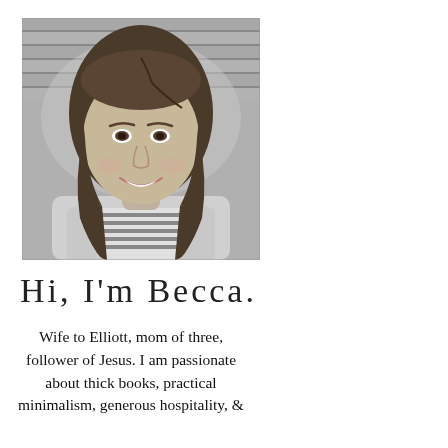[Figure (photo): Black and white portrait photo of a smiling young woman with long hair, wearing a striped shirt, photographed against a wooden siding background.]
Hi, I'm Becca.
Wife to Elliott, mom of three, follower of Jesus. I am passionate about thick books, practical minimalism, generous hospitality, &